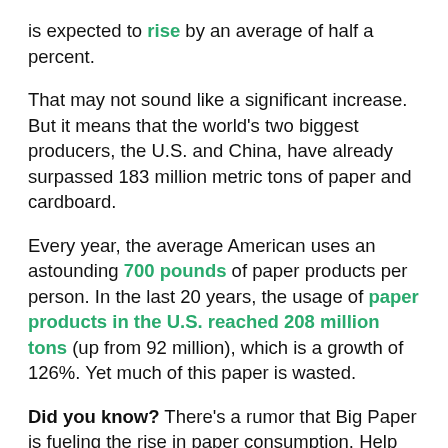is expected to rise by an average of half a percent.
That may not sound like a significant increase. But it means that the world's two biggest producers, the U.S. and China, have already surpassed 183 million metric tons of paper and cardboard.
Every year, the average American uses an astounding 700 pounds of paper products per person. In the last 20 years, the usage of paper products in the U.S. reached 208 million tons (up from 92 million), which is a growth of 126%. Yet much of this paper is wasted.
Did you know? There's a rumor that Big Paper is fueling the rise in paper consumption. Help us